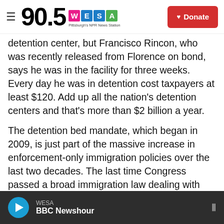90.5 WESA Pittsburgh's NPR News Station | Donate
detention center, but Francisco Rincon, who was recently released from Florence on bond, says he was in the facility for three weeks. Every day he was in detention cost taxpayers at least $120. Add up all the nation's detention centers and that's more than $2 billion a year.
The detention bed mandate, which began in 2009, is just part of the massive increase in enforcement-only immigration policies over the last two decades. The last time Congress passed a broad immigration law dealing with something other than enforcement — such as overhauling visa or guest worker policies — was 1986.
WESA | BBC Newshour